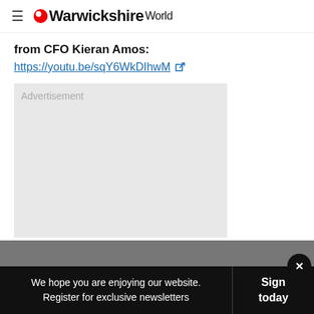Warwickshire World
from CFO Kieran Amos:
https://youtu.be/sqY6WkDIhwM
[Figure (other): Advertisement placeholder box with light gray background]
We hope you are enjoying our website. Register for exclusive newsletters | Sign today